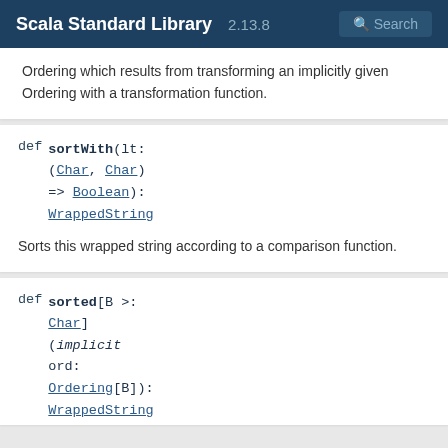Scala Standard Library 2.13.8
Ordering which results from transforming an implicitly given Ordering with a transformation function.
def sortWith(lt: (Char, Char) => Boolean): WrappedString
Sorts this wrapped string according to a comparison function.
def sorted[B >: Char](implicit ord: Ordering[B]): WrappedString